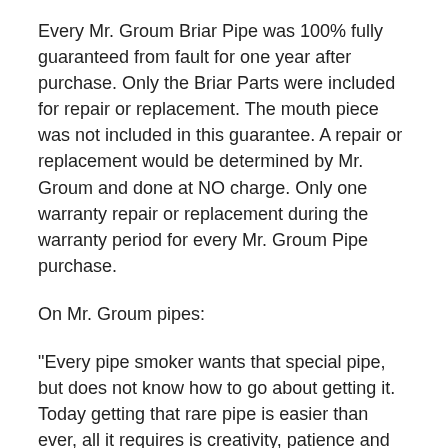Every Mr. Groum Briar Pipe was 100% fully guaranteed from fault for one year after purchase. Only the Briar Parts were included for repair or replacement. The mouth piece was not included in this guarantee. A repair or replacement would be determined by Mr. Groum and done at NO charge. Only one warranty repair or replacement during the warranty period for every Mr. Groum Pipe purchase.
On Mr. Groum pipes:
"Every pipe smoker wants that special pipe, but does not know how to go about getting it. Today getting that rare pipe is easier than ever, all it requires is creativity, patience and Mr. Groum. Mr. Groum has been making pipe shapes like no other for more than thirty years. While he does make classical shapes, he is best know for making more exotic shapes like the Apple Pipe which is his Signature